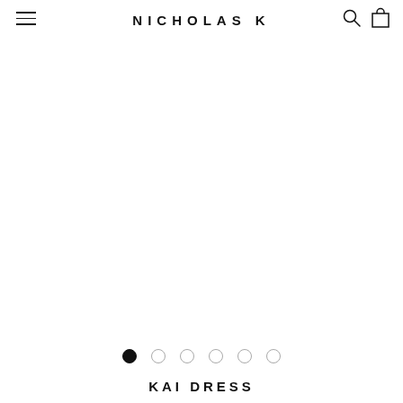NICHOLAS K
[Figure (photo): Large product image area (white/blank) showing KAI DRESS product photo carousel]
● ○ ○ ○ ○ ○ (carousel dots indicating 6 images, first selected)
KAI DRESS